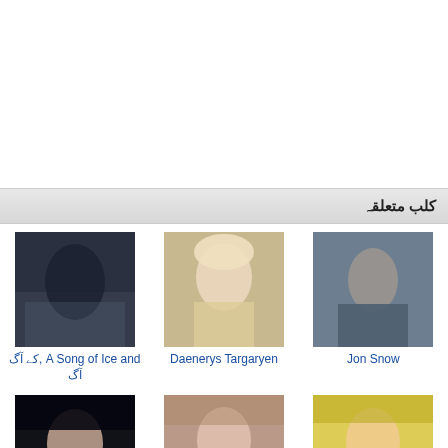کلب متعلقہ
[Figure (photo): Thumbnail image for A Song of Ice and Fire / آگ کے، آگ]
A Song of Ice and ,کے آگ
آگ
[Figure (photo): Thumbnail image for Daenerys Targaryen]
Daenerys Targaryen
[Figure (photo): Thumbnail image for Jon Snow]
Jon Snow
[Figure (photo): Thumbnail image for Lena Headey]
Lena Headey
[Figure (photo): Thumbnail image for Sansa Stark]
Sansa Stark
[Figure (photo): Thumbnail image for Emilia Clarke]
Emilia Clarke
[Figure (photo): Partial thumbnail row at bottom - 3 images partially visible]